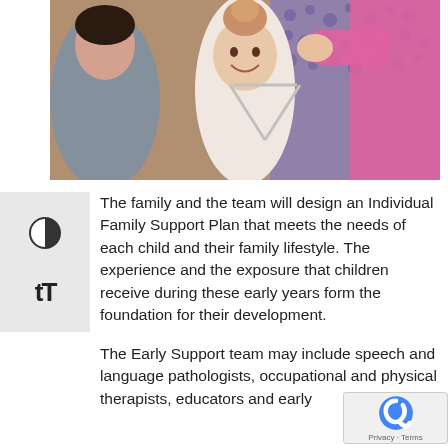[Figure (photo): A smiling young girl with a bun hairstyle holding a triangle musical instrument, with two adults beside her — one on left in grey sweater, one on right in pink top. Purple patterned background.]
The family and the team will design an Individual Family Support Plan that meets the needs of each child and their family lifestyle. The experience and the exposure that children receive during these early years form the foundation for their development.
The Early Support team may include speech and language pathologists, occupational and physical therapists, educators and early